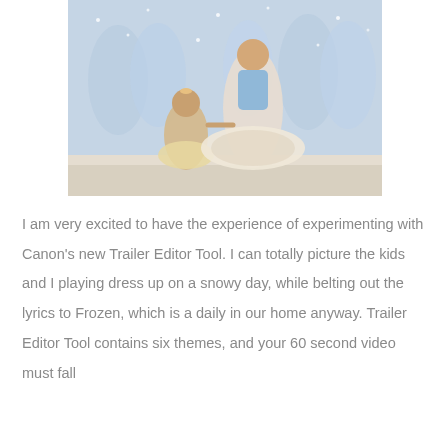[Figure (photo): A young girl in a gold/cream tutu dress holding hands with a taller ballerina in a light blue and cream tulle costume, surrounded by more ballerinas in blue tutus in the background on a stage with artificial snow.]
I am very excited to have the experience of experimenting with Canon's new Trailer Editor Tool. I can totally picture the kids and I playing dress up on a snowy day, while belting out the lyrics to Frozen, which is a daily in our home anyway. Trailer Editor Tool contains six themes, and your 60 second video must fall